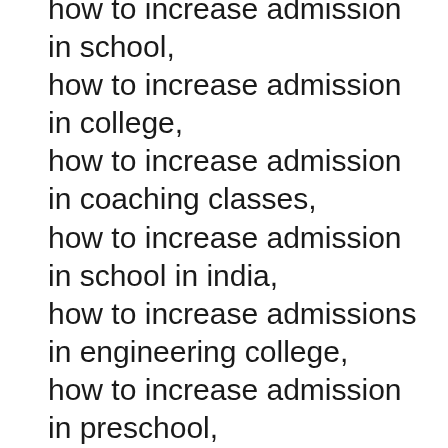how to increase admission in school,
how to increase admission in college,
how to increase admission in coaching classes,
how to increase admission in school in india,
how to increase admissions in engineering college,
how to increase admission in preschool,
how to increase admissions in engineering college ppt,
how to increase admission in university,
how to increase admission in school